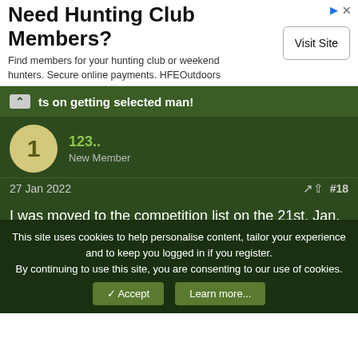[Figure (screenshot): Advertisement banner: Need Hunting Club Members? Find members for your hunting club or weekend hunters. Secure online payments. HFEOutdoors. Visit Site button.]
ts on getting selected man!
123.. New Member
27 Jan 2022 #18
I was moved to the competition list on the 21st. Jan. Anybody else moved to "selected "
Astroman Guest
This site uses cookies to help personalise content, tailor your experience and to keep you logged in if you register.
By continuing to use this site, you are consenting to our use of cookies.